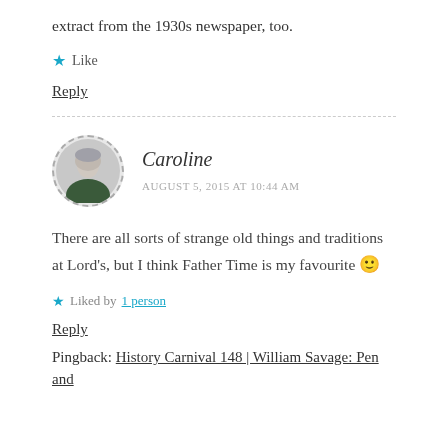extract from the 1930s newspaper, too.
Like
Reply
Caroline
AUGUST 5, 2015 AT 10:44 AM
There are all sorts of strange old things and traditions at Lord's, but I think Father Time is my favourite 🙂
Liked by 1 person
Reply
Pingback: History Carnival 148 | William Savage: Pen and